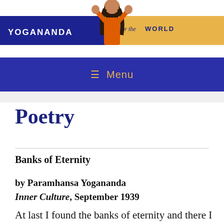[Figure (logo): Yogananda for the World website header banner with blue left section showing 'YOGANANDA' text, orange right section showing 'for the WORLD', and a figure of Paramhansa Yogananda in orange robes with hands raised overlaid in the center]
≡ Menu
Poetry
Banks of Eternity
by Paramhansa Yogananda
Inner Culture, September 1939
At last I found the banks of eternity and there I sat,